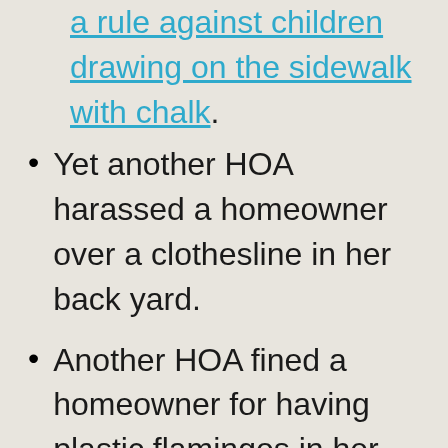a rule against children drawing on the sidewalk with chalk.
Yet another HOA harassed a homeowner over a clothesline in her back yard.
Another HOA fined a homeowner for having plastic flamingos in her front yard.
Another HOA shut down a kid's lemonade stand, saying businesses weren't allowed in the subdivision.